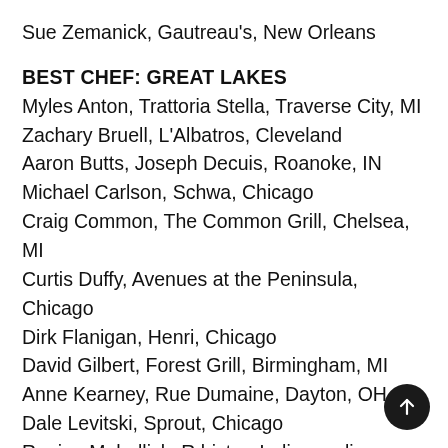Sue Zemanick, Gautreau's, New Orleans
BEST CHEF: GREAT LAKES
Myles Anton, Trattoria Stella, Traverse City, MI
Zachary Bruell, L'Albatros, Cleveland
Aaron Butts, Joseph Decuis, Roanoke, IN
Michael Carlson, Schwa, Chicago
Craig Common, The Common Grill, Chelsea, MI
Curtis Duffy, Avenues at the Peninsula, Chicago
Dirk Flanigan, Henri, Chicago
David Gilbert, Forest Grill, Birmingham, MI
Anne Kearney, Rue Dumaine, Dayton, OH
Dale Levitski, Sprout, Chicago
Regina Mehallick, R bistro, Indianapolis
Chris Nugent, Les Nomades, Chicago
Steven J. Oakley, Oakleys bistro, Indianapolis